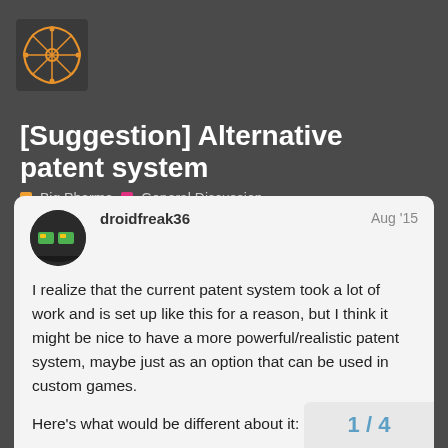[Figure (logo): Forum logo: orange/yellow X-shaped atomic or circuit symbol on dark background]
[Suggestion] Alternative patent system
Big Pharma   General Discussion
droidfreak36   Aug '15
I realize that the current patent system took a lot of work and is set up like this for a reason, but I think it might be nice to have a more powerful/realistic patent system, maybe just as an option that can be used in custom games.
Here's what would be different about it:
Instead of patenting drugs, you patent cures*
Patents cannot be dodged with side effe
1 / 4